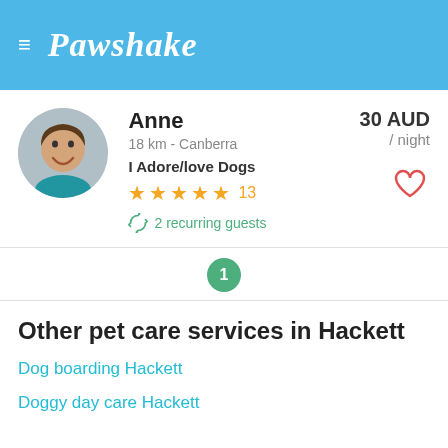Pawshake
[Figure (photo): Profile photo of Anne, a woman, shown as circular avatar]
Anne
18 km - Canberra
I Adore/love Dogs
★★★★★ 13
2 recurring guests
30 AUD / night
1
Other pet care services in Hackett
Dog boarding Hackett
Doggy day care Hackett